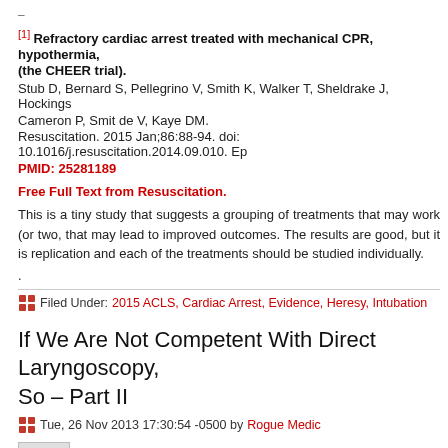–
[1] Refractory cardiac arrest treated with mechanical CPR, hypothermia, (the CHEER trial). Stub D, Bernard S, Pellegrino V, Smith K, Walker T, Sheldrake J, Hockings Cameron P, Smit de V, Kaye DM. Resuscitation. 2015 Jan;86:88-94. doi: 10.1016/j.resuscitation.2014.09.010. Ep
PMID: 25281189
Free Full Text from Resuscitation.
This is a tiny study that suggests a grouping of treatments that may work (or two, that may lead to improved outcomes. The results are good, but it is replication and each of the treatments should be studied individually.
.
Filed Under: 2015 ACLS, Cardiac Arrest, Evidence, Heresy, Intubation
If We Are Not Competent With Direct Laryngoscopy, So – Part II
Tue, 26 Nov 2013 17:30:54 -0500 by Rogue Medic